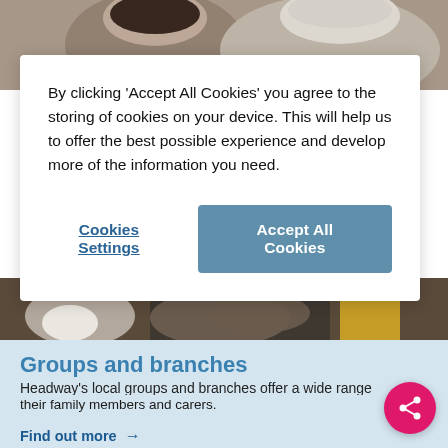[Figure (photo): Top portion of a photo showing two people, one with dark hair and one with grey/white hair, cropped at top of page]
By clicking 'Accept All Cookies' you agree to the storing of cookies on your device. This will help us to offer the best possible experience and develop more of the information you need.
Cookies Settings
Accept All Cookies
[Figure (photo): Bottom portion of a photo showing hands and a person in dark clothing with yellow accent, food items visible]
Groups and branches
Headway's local groups and branches offer a wide range of services to support people with brain injury, their family members and carers.
Find out more →